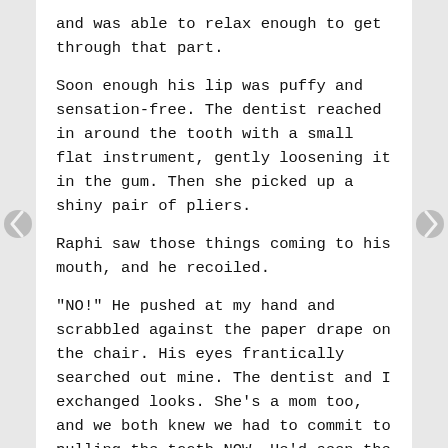and was able to relax enough to get through that part.
Soon enough his lip was puffy and sensation-free. The dentist reached in around the tooth with a small flat instrument, gently loosening it in the gum. Then she picked up a shiny pair of pliers.
Raphi saw those things coming to his mouth, and he recoiled.
“NO!” He pushed at my hand and scrabbled against the paper drape on the chair. His eyes frantically searched out mine. The dentist and I exchanged looks. She’s a mom too, and we both knew we had to commit to pulling the tooth NOW. He’d seen the pliers and it wasn’t going to get easier to see those heading toward him. It was a split-second judgment call, and we both felt like we had to go for it.
I trapped his hands securely under mine, steadied his head, and said firmly in his ear.